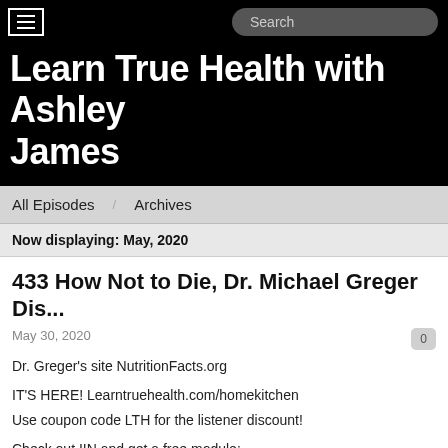Learn True Health with Ashley James
All Episodes   Archives
Now displaying: May, 2020
433 How Not to Die, Dr. Michael Greger Dis...
May 30, 2020
Dr. Greger's site NutritionFacts.org
IT'S HERE! Learntruehealth.com/homekitchen
Use coupon code LTH for the listener discount!
Check out IIN and get a free module: LearnTrueHealth.com/coaching
How Not To Die